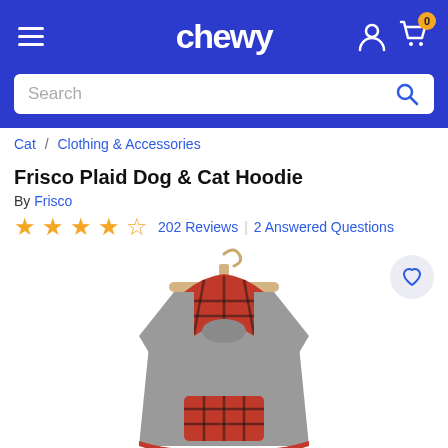chewy
Search
Cat / Clothing & Accessories
Frisco Plaid Dog & Cat Hoodie
By Frisco
202 Reviews | 2 Answered Questions
[Figure (photo): Gray and red plaid dog/cat hoodie hanging on a wooden hanger, viewed from the back, showing red buffalo plaid hood and pocket on gray body]